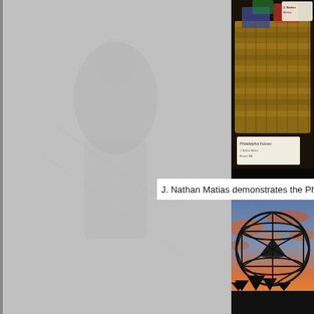[Figure (photo): Photo of J. Nathan Matias demonstrating the Philadelphia Futures project, showing a wicker basket display with a label card reading 'Philadelphia Futures'. A small name card visible in upper right reads 'J. Nathan Matias'. Dark indoor setting.]
J. Nathan Matias demonstrates the Philadelphia Fu
[Figure (photo): Outdoor photo at sunset/dusk showing a large geodesic/icosahedral metal sculpture silhouetted against a dramatic orange and blue cloudy sky, with dark trees visible in the background.]
[Figure (photo): Faint ghosted background image on left gray panel, showing a partial silhouette of a person or figure.]